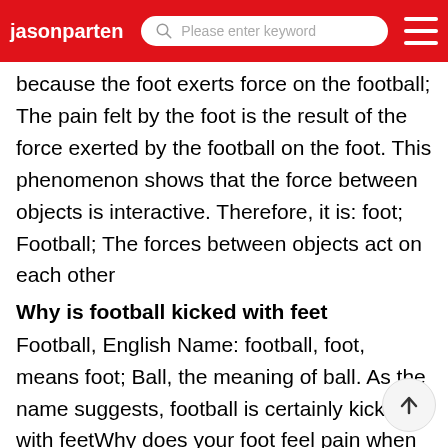jasonparten
because the foot exerts force on the football; The pain felt by the foot is the result of the force exerted by the football on the foot. This phenomenon shows that the force between objects is interactive. Therefore, it is: foot; Football; The forces between objects act on each other
Why is football kicked with feet
Football, English Name: football, foot, means foot; Ball, the meaning of ball. As the name suggests, football is certainly kicked with feetWhy does your foot feel pain when you kick a football
When the foot kicks a ball, the foot gives a force to the ball. At the same time, because the force between objects is mutual, the football also gives a reaction force to the foot, the foot feels painful
How to play football powerful know how to play football with your feet